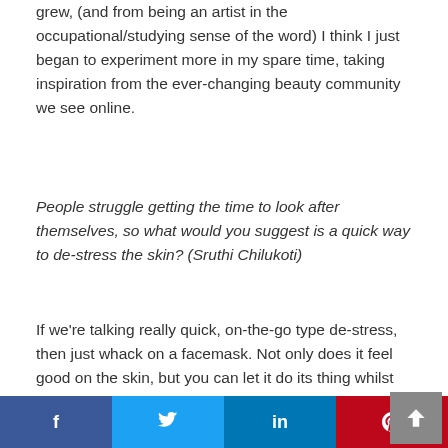grew, (and from being an artist in the occupational/studying sense of the word) I think I just began to experiment more in my spare time, taking inspiration from the ever-changing beauty community we see online.
People struggle getting the time to look after themselves, so what would you suggest is a quick way to de-stress the skin? (Sruthi Chilukoti)
If we're talking really quick, on-the-go type de-stress, then just whack on a facemask. Not only does it feel good on the skin, but you can let it do its thing whilst you carry on doing whatever it was you were up to. Or like me, you can put on a mask and lie there for a good 30 minutes thinking about all the little things you've got done, but